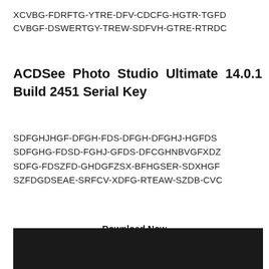XCVBG-FDRFTG-YTRE-DFV-CDCFG-HGTR-TGFD
CVBGF-DSWERTGY-TREW-SDFVH-GTRE-RTRDC
ACDSee Photo Studio Ultimate 14.0.1 Build 2451 Serial Key
SDFGHJHGF-DFGH-FDS-DFGH-DFGHJ-HGFDS
SDFGHG-FDSD-FGHJ-GFDS-DFCGHNBVGFXDZ
SDFG-FDSZFD-GHDGFZSX-BFHGSER-SDXHGF
SZFDGDSEAE-SRFCV-XDFG-RTEAW-SZDB-CVC
Download Now
[Figure (photo): Dark/black rectangular image area at the bottom of the page]